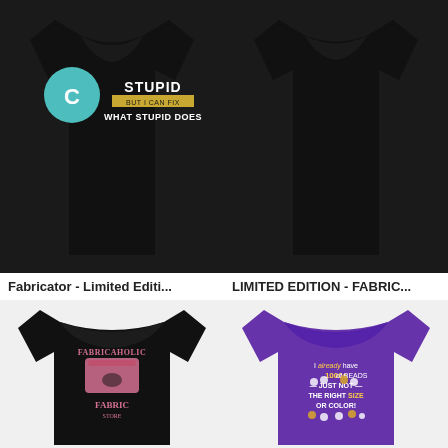[Figure (photo): Black t-shirt with 'STUPID BUT I CAN FIX WHAT STUPID DOES' text graphic and teal C circle logo overlay, top portion]
[Figure (photo): Black t-shirt plain back view, top portion]
Fabricator - Limited Editi...
LIMITED EDITION - FABRIC...
[Figure (photo): Black t-shirt with pink 'FABRICAHOLIC' sewing machine design and 'FABRIC STORE' text]
[Figure (photo): Purple t-shirt with text 'I already have 1000s of BEADS JUST NOT THE RIGHT SIZE OR COLOR!' with bead illustrations]